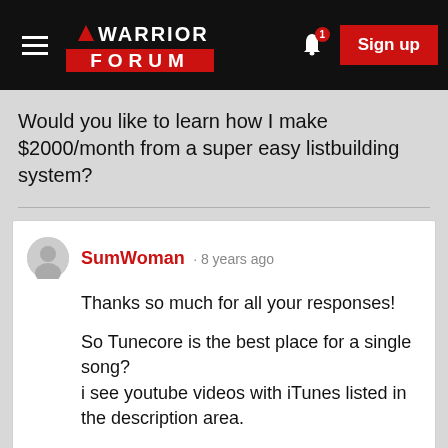Warrior Forum | Sign up
Would you like to learn how I make $2000/month from a super easy listbuilding system?
SumWoman · 8 years ago
Thanks so much for all your responses!

So Tunecore is the best place for a single song?
i see youtube videos with iTunes listed in the description area.

i didn't know about amazon mp3.